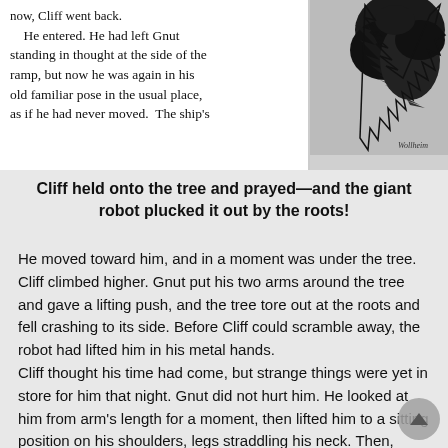[Figure (illustration): Scanned book page spread showing two columns of vintage serif text on the left half, and a black-and-white ink illustration of a dark shadowy figure (robot/creature) on the right half.]
Cliff held onto the tree and prayed—and the giant robot plucked it out by the roots!
He moved toward him, and in a moment was under the tree. Cliff climbed higher. Gnut put his two arms around the tree and gave a lifting push, and the tree tore out at the roots and fell crashing to its side. Before Cliff could scramble away, the robot had lifted him in his metal hands.
Cliff thought his time had come, but strange things were yet in store for him that night. Gnut did not hurt him. He looked at him from arm's length for a moment, then lifted him to a sitting position on his shoulders, legs straddling his neck. Then, holding one ankle, he turned and without hesitation started down the path which led westward away from the building.
Cliff rode helpless. Out over the lawns he saw the muzzles of the scattered field pieces move as he moved, Gnut—and himself—their one focus. But they did not fire. Gnut, by